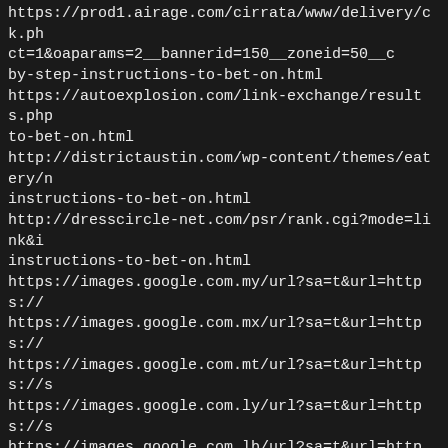https://prod1.airage.com/cirrata/www/delivery/ck.ph ct=1&oaparams=2__bannerid=150__zoneid=50__c by-step-instructions-to-bet-on.html
https://autoexplosion.com/link-exchange/results.php to-bet-on.html
http://districtaustin.com/wp-content/themes/eatery/ instructions-to-bet-on.html
http://dresscircle-net.com/psr/rank.cgi?mode=link&i instructions-to-bet-on.html
https://images.google.com.my/url?sa=t&url=https://
https://images.google.com.mx/url?sa=t&url=https://
https://images.google.com.mt/url?sa=t&url=https://s
https://images.google.com.ly/url?sa=t&url=https://s
https://images.google.com.lb/url?sa=t&url=https://s
https://images.google.com.kw/url?sa=t&url=https://
https://images.google.com.kh/url?sa=t&url=https://s
https://images.google.com.jm/url?sa=t&url=https://s
https://images.google.com.hk/url?sa=t&url=https://